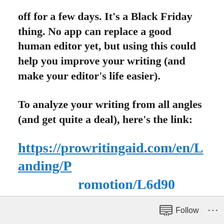off for a few days. It's a Black Friday thing. No app can replace a good human editor yet, but using this could help you improve your writing (and make your editor's life easier).
To analyze your writing from all angles (and get quite a deal), here's the link:
https://prowritingaid.com/en/Landing/Promotion/L6d90
~ I'm Robert Chazz Chute. I write
Follow